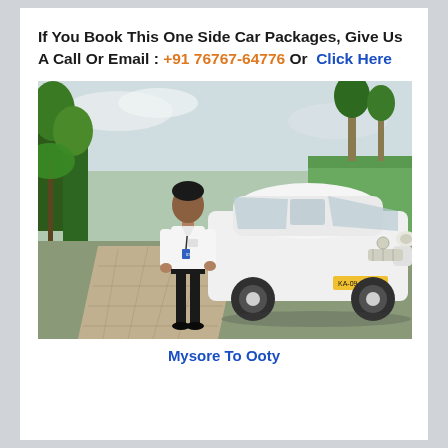If You Book This One Side Car Packages, Give Us A Call Or Email : +91 76767-64776 Or  Click Here
[Figure (photo): A driver in white shirt and black pants standing beside a white Toyota Etios car on a paved pathway surrounded by lush green trees and plants.]
Mysore To Ooty